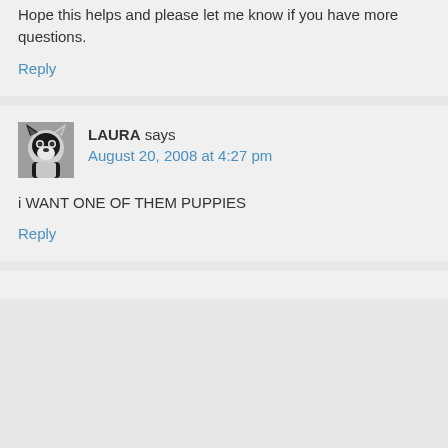Hope this helps and please let me know if you have more questions.
Reply
[Figure (photo): Avatar image of a husky dog, black and white, cartoon/illustrated style]
LAURA says
August 20, 2008 at 4:27 pm
i WANT ONE OF THEM PUPPIES
Reply